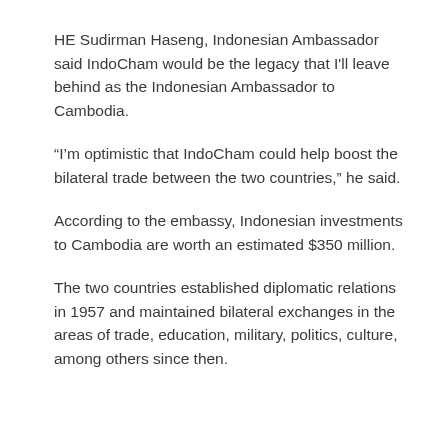HE Sudirman Haseng, Indonesian Ambassador said IndoCham would be the legacy that I'll leave behind as the Indonesian Ambassador to Cambodia.
“I’m optimistic that IndoCham could help boost the bilateral trade between the two countries,” he said.
According to the embassy, Indonesian investments to Cambodia are worth an estimated $350 million.
The two countries established diplomatic relations in 1957 and maintained bilateral exchanges in the areas of trade, education, military, politics, culture, among others since then.